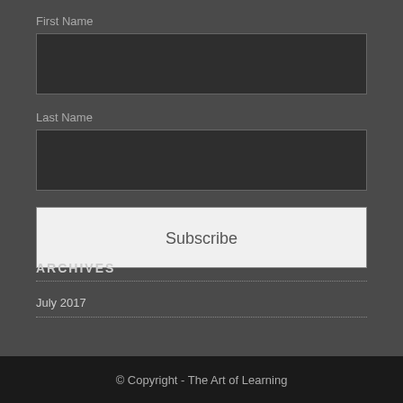First Name
Last Name
Subscribe
ARCHIVES
July 2017
© Copyright - The Art of Learning